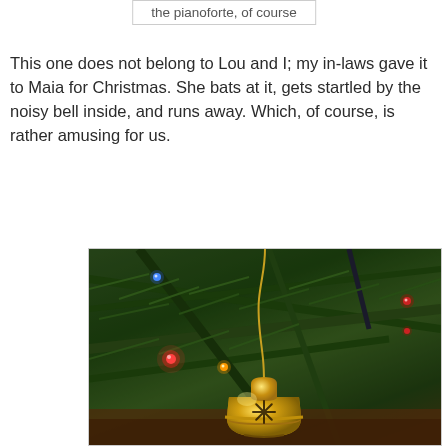the pianoforte, of course
This one does not belong to Lou and I; my in-laws gave it to Maia for Christmas. She bats at it, gets startled by the noisy bell inside, and runs away. Which, of course, is rather amusing for us.
[Figure (photo): A gold jingle bell ornament hanging on a Christmas tree with pine branches and colorful lights (pink/red, orange, blue) in the background.]